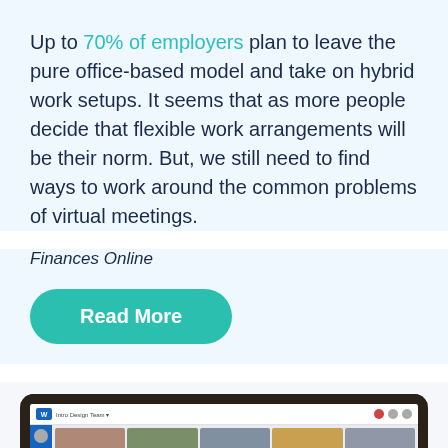Up to 70% of employers plan to leave the pure office-based model and take on hybrid work setups. It seems that as more people decide that flexible work arrangements will be their norm. But, we still need to find ways to work around the common problems of virtual meetings.
Finances Online
Read More
[Figure (screenshot): Screenshot of a video conferencing application showing a virtual meeting interface with multiple participants in a video strip at the top and meeting controls/participant list below.]